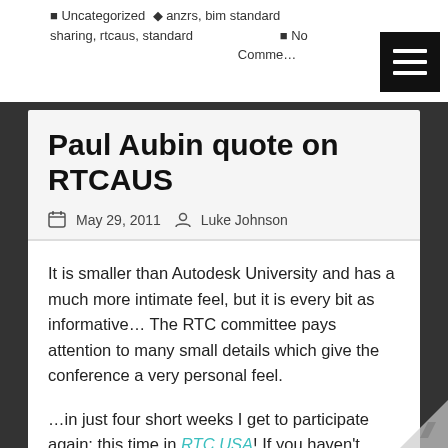Uncategorized  anzrs, bim standard sharing, rtcaus, standard   No Comments
Paul Aubin quote on RTCAUS
May 29, 2011   Luke Johnson
It is smaller than Autodesk University and has a much more intimate feel, but it is every bit as informative… The RTC committee pays attention to many small details which give the conference a very personal feel.
…in just four short weeks I get to participate again; this time in RTC USA! If you haven't signed up yet, please consider coming out to Huntington Beach, CA this June for an